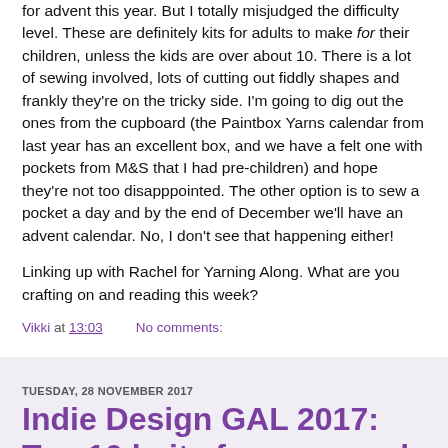for advent this year. But I totally misjudged the difficulty level. These are definitely kits for adults to make for their children, unless the kids are over about 10. There is a lot of sewing involved, lots of cutting out fiddly shapes and frankly they're on the tricky side. I'm going to dig out the ones from the cupboard (the Paintbox Yarns calendar from last year has an excellent box, and we have a felt one with pockets from M&S that I had pre-children) and hope they're not too disapppointed. The other option is to sew a pocket a day and by the end of December we'll have an advent calendar. No, I don't see that happening either!
Linking up with Rachel for Yarning Along. What are you crafting on and reading this week?
Vikki at 13:03    No comments:
TUESDAY, 28 NOVEMBER 2017
Indie Design GAL 2017: Top 10 knits for your neck